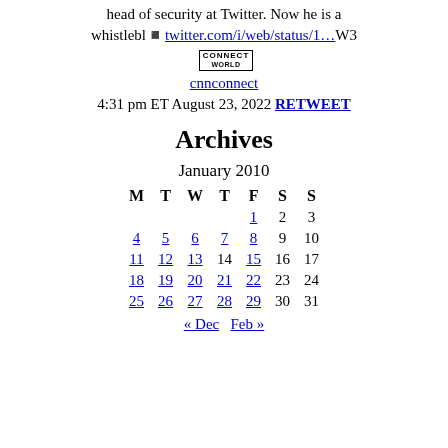head of security at Twitter. Now he is a whistlebl◾ttwitter.com/i/web/status/1…W3
cnnconnect  4:31 pm ET August 23, 2022 RETWEET
Archives
| M | T | W | T | F | S | S |
| --- | --- | --- | --- | --- | --- | --- |
|  |  |  |  | 1 | 2 | 3 |
| 4 | 5 | 6 | 7 | 8 | 9 | 10 |
| 11 | 12 | 13 | 14 | 15 | 16 | 17 |
| 18 | 19 | 20 | 21 | 22 | 23 | 24 |
| 25 | 26 | 27 | 28 | 29 | 30 | 31 |
« Dec   Feb »